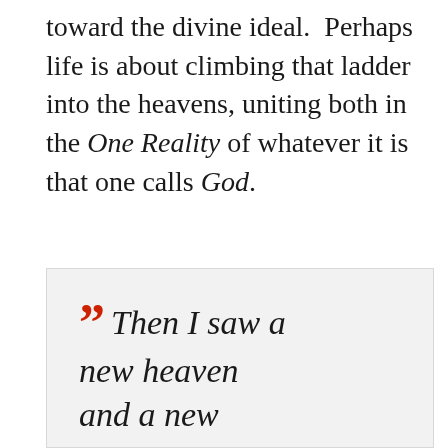toward the divine ideal.  Perhaps life is about climbing that ladder into the heavens, uniting both in the One Reality of whatever it is that one calls God.
““  Then I saw a new heaven and a new...